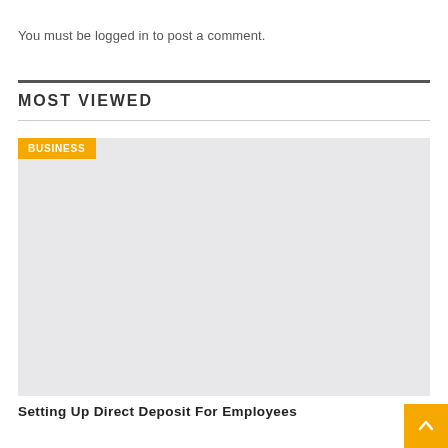You must be logged in to post a comment.
MOST VIEWED
[Figure (photo): Placeholder image for a business article card with an orange BUSINESS category badge in the top-left corner.]
Setting Up Direct Deposit For Employees